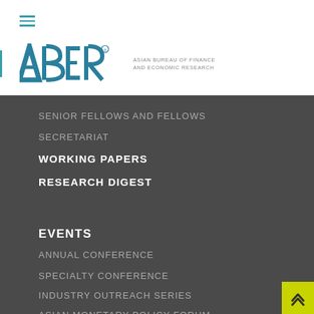[Figure (logo): ABFER logo — Asian Bureau of Finance and Economic Research wordmark with stylized ABFER letters in teal/blue]
SENIOR FELLOWS AND FELLOWS
SECRETARIAT
WORKING PAPERS
RESEARCH DIGEST
EVENTS
ANNUAL CONFERENCE
SPECIALTY CONFERENCE
INDUSTRY OUTREACH SERIES
ASIAN MONETARY POLICY FORUM